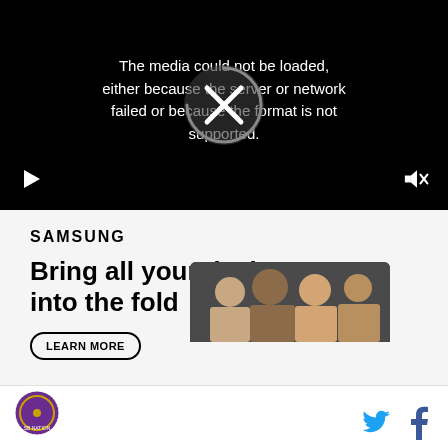[Figure (screenshot): Video player with black background showing error message and media controls]
The media could not be loaded, either because the server or network failed or because the format is not supported.
[Figure (screenshot): Samsung advertisement banner with headline 'Bring all your devices into the fold' and LEARN MORE button]
SAMSUNG
Bring all your devices into the fold
[Figure (screenshot): Page footer with circular logo on left and Twitter/Facebook social icons on right]